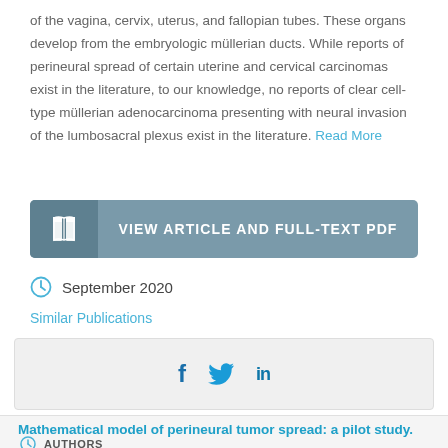of the vagina, cervix, uterus, and fallopian tubes. These organs develop from the embryologic müllerian ducts. While reports of perineural spread of certain uterine and cervical carcinomas exist in the literature, to our knowledge, no reports of clear cell-type müllerian adenocarcinoma presenting with neural invasion of the lumbosacral plexus exist in the literature. Read More
[Figure (other): Button: VIEW ARTICLE AND FULL-TEXT PDF with book icon on left side, grey/teal background]
September 2020
Similar Publications
[Figure (other): Social share icons: Facebook (f), Twitter (bird), LinkedIn (in) on light grey background]
Mathematical model of perineural tumor spread: a pilot study.
AUTHORS